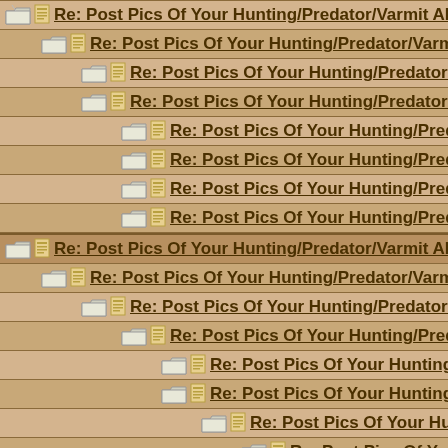Re: Post Pics Of Your Hunting/Predator/Varmit AR Here !!
Re: Post Pics Of Your Hunting/Predator/Varmit AR Here !!
Re: Post Pics Of Your Hunting/Predator/Varmit AR Here !!
Re: Post Pics Of Your Hunting/Predator/Varmit AR Here !!
Re: Post Pics Of Your Hunting/Predator/Varmit AR Here
Re: Post Pics Of Your Hunting/Predator/Varmit AR He
Re: Post Pics Of Your Hunting/Predator/Varmit AR Here
Re: Post Pics Of Your Hunting/Predator/Varmit AR He
Re: Post Pics Of Your Hunting/Predator/Varmit AR Here !!
Re: Post Pics Of Your Hunting/Predator/Varmit AR Here !!
Re: Post Pics Of Your Hunting/Predator/Varmit AR Here !!
Re: Post Pics Of Your Hunting/Predator/Varmit AR Here
Re: Post Pics Of Your Hunting/Predator/Varmit AR He
Re: Post Pics Of Your Hunting/Predator/Varmit AR H
Re: Post Pics Of Your Hunting/Predator/Varmit AR
Re: Post Pics Of Your Hunting/Predator/Varmit
Re: Post Pics Of Your Hunting/Predator/Varm
Re: Post Pics Of Your Hunting/Predator/Va